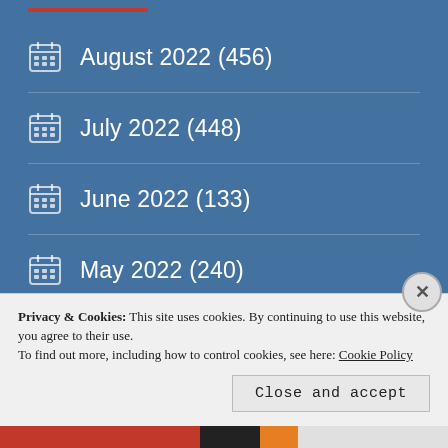August 2022 (456)
July 2022 (448)
June 2022 (133)
May 2022 (240)
April 2022 (176)
March 2022 (487)
Privacy & Cookies: This site uses cookies. By continuing to use this website, you agree to their use.
To find out more, including how to control cookies, see here: Cookie Policy
Close and accept